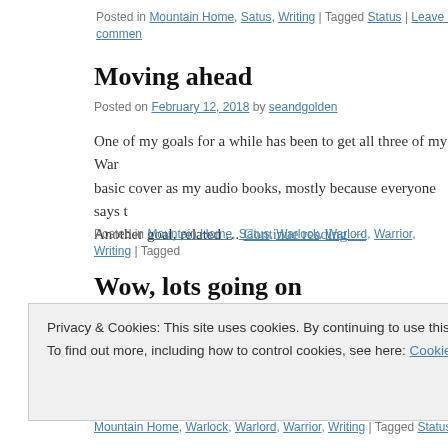Posted in Mountain Home, Satus, Writing | Tagged Status | Leave a comment
Moving ahead
Posted on February 12, 2018 by seandgolden
One of my goals for a while has been to get all three of my War… basic cover as my audio books, mostly because everyone says th… Another goal, related … Continue reading →
Posted in Mountain Home, Satus, Warlock, Warlord, Warrior, Writing | Tagged
Wow, lots going on
Posted on February 8, 2018 by seandgolden
Privacy & Cookies: This site uses cookies. By continuing to use this website, you agree to their use.
To find out more, including how to control cookies, see here: Cookie Policy
Posted in Mountain Home, Warlock, Warlord, Warrior, Writing | Tagged Status